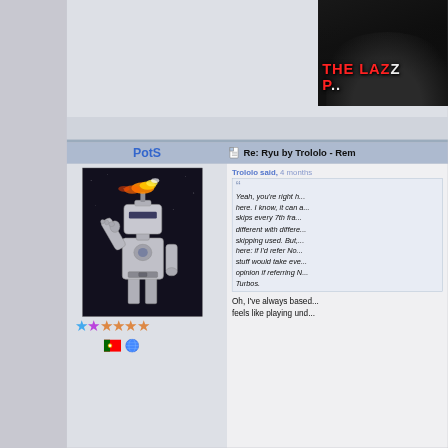[Figure (screenshot): Forum screenshot showing a post by user PotS with avatar of a robot figure shooting fire, star ratings, Portugal flag and globe icons. A quoted reply from Trololo is shown discussing frame skipping and Normals/Turbos. The header bar shows 'PotS' and 'Re: Ryu by Trololo - Rem...' with a dark banner image in the top right corner with text 'THE LAZ... P...']
PotS
Re: Ryu by Trololo - Rem
Trololo said, 4 months
Yeah, you're right h... here. I know, it can s... skips every 7th fra... different with diffe... skipping used. But,... here: if I'd refer No... stuff would take eve... opinion if referring N... Turbos.
Oh, I've always based... feels like playing und...